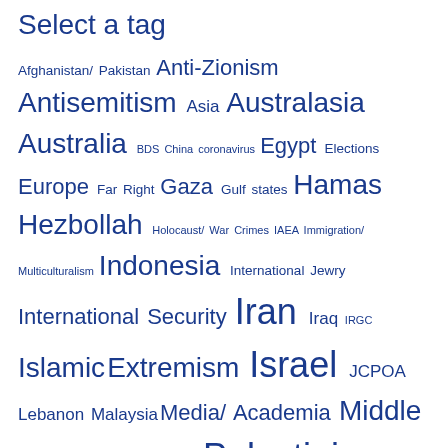Select a tag
Afghanistan/ Pakistan Anti-Zionism Antisemitism Asia Australasia Australia BDS China coronavirus Egypt Elections Europe Far Right Gaza Gulf states Hamas Hezbollah Holocaust/ War Crimes IAEA Immigration/ Multiculturalism Indonesia International Jewry International Security Iran Iraq IRGC Islamic Extremism Israel JCPOA Lebanon Malaysia Media/ Academia Middle East New Zealand NGOs Palestinians Russia Saudi Arabia Syria Terrorism Turkey UAE United Kingdom United Nations United States